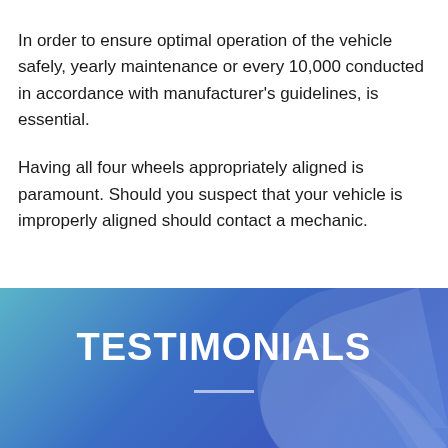In order to ensure optimal operation of the vehicle safely, yearly maintenance or every 10,000 conducted in accordance with manufacturer's guidelines, is essential.
Having all four wheels appropriately aligned is paramount. Should you suspect that your vehicle is improperly aligned should contact a mechanic.
TESTIMONIALS